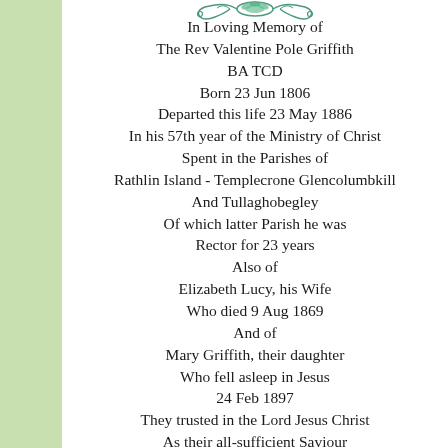[Figure (illustration): Decorative floral/scroll ornament in teal/green]
In Loving Memory of The Rev Valentine Pole Griffith BA TCD Born 23 Jun 1806 Departed this life 23 May 1886 In his 57th year of the Ministry of Christ Spent in the Parishes of Rathlin Island - Templecrone Glencolumbkill And Tullaghobegley Of which latter Parish he was Rector for 23 years Also of Elizabeth Lucy, his Wife Who died 9 Aug 1869 And of Mary Griffith, their daughter Who fell asleep in Jesus 24 Feb 1897 They trusted in the Lord Jesus Christ As their all-sufficient Saviour And thus peacefully Their spirits passed into God's Safekeeping for Eternal Rest 'So He giveth His Beloved sleep' Ps. cxxvii. 2